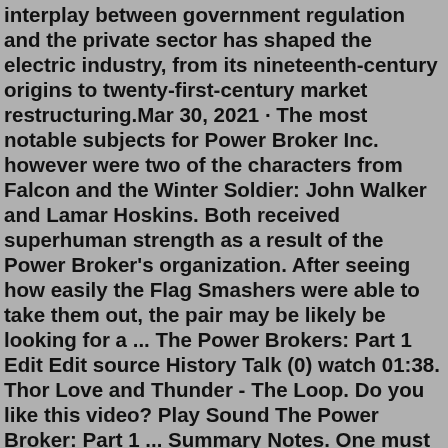interplay between government regulation and the private sector has shaped the electric industry, from its nineteenth-century origins to twenty-first-century market restructuring.Mar 30, 2021 · The most notable subjects for Power Broker Inc. however were two of the characters from Falcon and the Winter Soldier: John Walker and Lamar Hoskins. Both received superhuman strength as a result of the Power Broker's organization. After seeing how easily the Flag Smashers were able to take them out, the pair may be likely be looking for a ... The Power Brokers: Part 1 Edit Edit source History Talk (0) watch 01:38. Thor Love and Thunder - The Loop. Do you like this video? Play Sound The Power Broker: Part 1 ... Summary Notes. One must wait until the evening To see how splendid the day has been. (Page 1) The net result of all his work was nothing. There was no civil service standardization, no great highway along the Hudson, no mothers' shelters in Central Park. Intending to reform the city, he had worked hard and mastered with a supreme mastery reform ... The